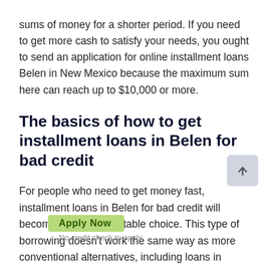sums of money for a shorter period. If you need to get more cash to satisfy your needs, you ought to send an application for online installment loans Belen in New Mexico because the maximum sum here can reach up to $10,000 or more.
The basics of how to get installment loans in Belen for bad credit
For people who need to get money fast, installment loans in Belen for bad credit will become the most profitable choice. This type of borrowing doesn't work the same way as more conventional alternatives, including loans in banks where people have to visit the office of their lender to fill out the application to get cash. That's why it much quicker to get money with installment loans Belen in New Mexico because the only activity people ought to do is to find out the most beneficial company, open its website and fill out